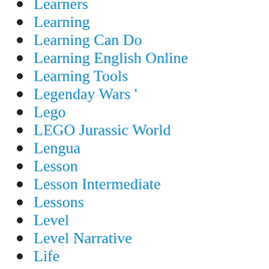Learners
Learning
Learning Can Do
Learning English Online
Learning Tools
Legenday Wars '
Lego
LEGO Jurassic World
Lengua
Lesson
Lesson Intermediate
Lessons
Level
Level Narrative
Life
Light Is
Light Wiki |